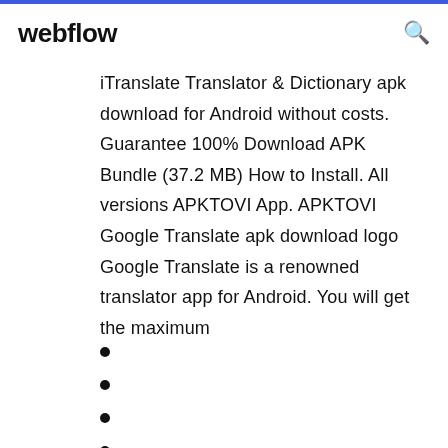webflow
iTranslate Translator & Dictionary apk download for Android without costs. Guarantee 100% Download APK Bundle (37.2 MB) How to Install. All versions APKTOVI App. APKTOVI Google Translate apk download logo  Google Translate is a renowned translator app for Android. You will get the maximum